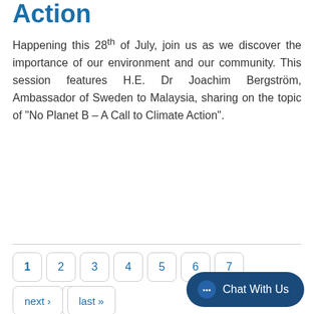Action
Happening this 28th of July, join us as we discover the importance of our environment and our community. This session features H.E. Dr Joachim Bergström, Ambassador of Sweden to Malaysia, sharing on the topic of “No Planet B – A Call to Climate Action”.
Read More
1 2 3 4 5 6 7 8 9 next › last »
Chat With Us